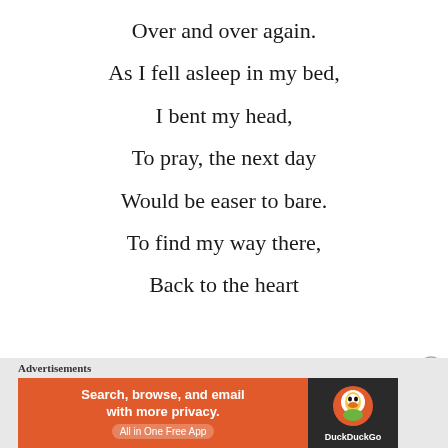Over and over again.
As I fell asleep in my bed,
I bent my head,
To pray, the next day
Would be easer to bare.
To find my way there,
Back to the heart
Advertisements
[Figure (other): DuckDuckGo advertisement banner: 'Search, browse, and email with more privacy. All in One Free App' with DuckDuckGo logo on dark background]